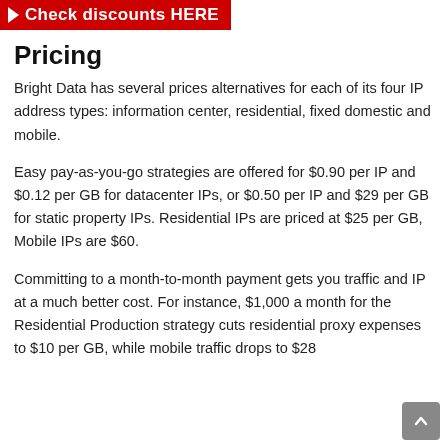➤ Check discounts HERE
Pricing
Bright Data has several prices alternatives for each of its four IP address types: information center, residential, fixed domestic and mobile.
Easy pay-as-you-go strategies are offered for $0.90 per IP and $0.12 per GB for datacenter IPs, or $0.50 per IP and $29 per GB for static property IPs. Residential IPs are priced at $25 per GB, Mobile IPs are $60.
Committing to a month-to-month payment gets you traffic and IP at a much better cost. For instance, $1,000 a month for the Residential Production strategy cuts residential proxy expenses to $10 per GB, while mobile traffic drops to $28 GB.